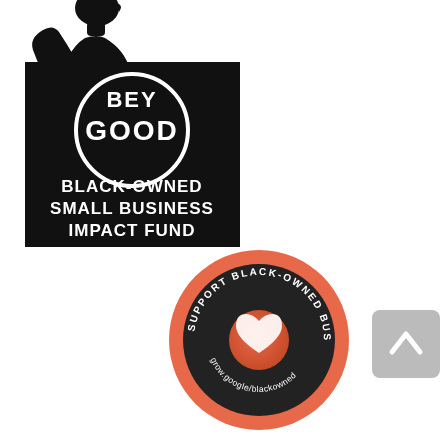[Figure (logo): Black silhouette of a person (partial, cropped) at top left]
[Figure (logo): BeyGood Black-Owned Small Business Impact Fund logo: black square with white circle containing 'BEY GOOD' text, and 'BLACK-OWNED SMALL BUSINESS IMPACT FUND' in bold white text below]
[Figure (logo): Google 'Support Black-Owned Businesses' badge: circular badge with coral/orange outer ring, dark inner circle with gradient heart icon and text 'SUPPORT BLACK-OWNED BUSINESSES' around the top and 'grow.google/blackowned' at the bottom]
[Figure (other): Gray rounded square 'scroll to top' button with upward-pointing chevron/arrow, positioned at bottom right]